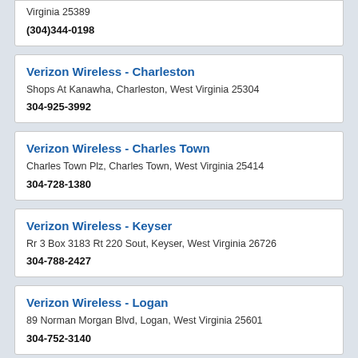Virginia 25389
(304)344-0198
Verizon Wireless - Charleston
Shops At Kanawha, Charleston, West Virginia 25304
304-925-3992
Verizon Wireless - Charles Town
Charles Town Plz, Charles Town, West Virginia 25414
304-728-1380
Verizon Wireless - Keyser
Rr 3 Box 3183 Rt 220 Sout, Keyser, West Virginia 26726
304-788-2427
Verizon Wireless - Logan
89 Norman Morgan Blvd, Logan, West Virginia 25601
304-752-3140
Verizon Wireless - Martinsburg